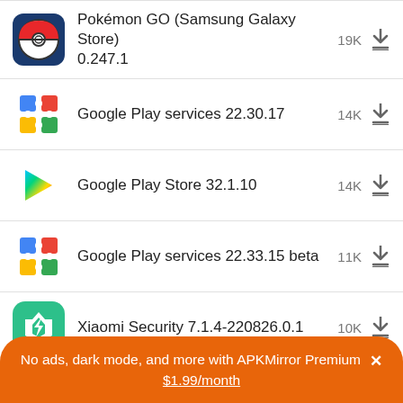Pokémon GO (Samsung Galaxy Store) 0.247.1 — 19K
Google Play services 22.30.17 — 14K
Google Play Store 32.1.10 — 14K
Google Play services 22.33.15 beta — 11K
Xiaomi Security 7.1.4-220826.0.1 — 10K
Google Play Store 32.1.12 — 8.7K
No ads, dark mode, and more with APKMirror Premium ✕ $1.99/month